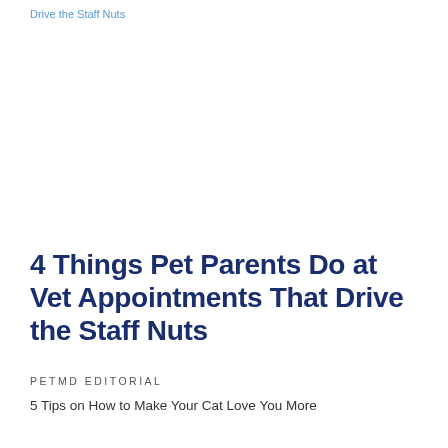Drive the Staff Nuts
4 Things Pet Parents Do at Vet Appointments That Drive the Staff Nuts
PETMD EDITORIAL
5 Tips on How to Make Your Cat Love You More